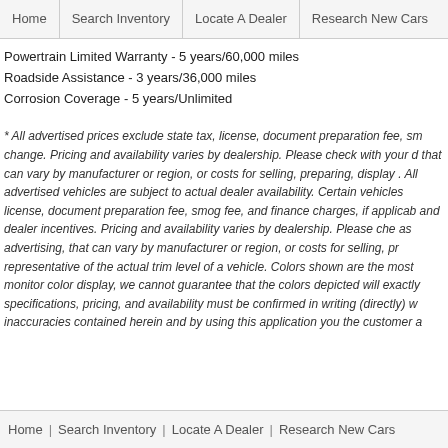Home | Search Inventory | Locate A Dealer | Research New Cars
Powertrain Limited Warranty - 5 years/60,000 miles
Roadside Assistance - 3 years/36,000 miles
Corrosion Coverage - 5 years/Unlimited
* All advertised prices exclude state tax, license, document preparation fee, sm... change. Pricing and availability varies by dealership. Please check with your d... that can vary by manufacturer or region, or costs for selling, display... All advertised vehicles are subject to actual dealer availability. Certain vehicles... license, document preparation fee, smog fee, and finance charges, if applicab... and dealer incentives. Pricing and availability varies by dealership. Please che... as advertising, that can vary by manufacturer or region, or costs for selling, pr... representative of the actual trim level of a vehicle. Colors shown are the most... monitor color display, we cannot guarantee that the colors depicted will exactly... specifications, pricing, and availability must be confirmed in writing (directly) w... inaccuracies contained herein and by using this application you the customer a...
Home | Search Inventory | Locate A Dealer | Research New Cars